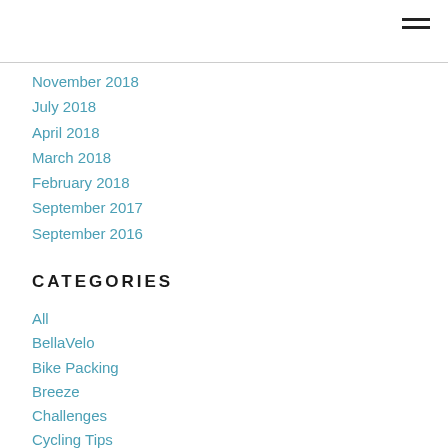November 2018
July 2018
April 2018
March 2018
February 2018
September 2017
September 2016
CATEGORIES
All
BellaVelo
Bike Packing
Breeze
Challenges
Cycling Tips
North Coast 500
Ride Across Britain (RAB)